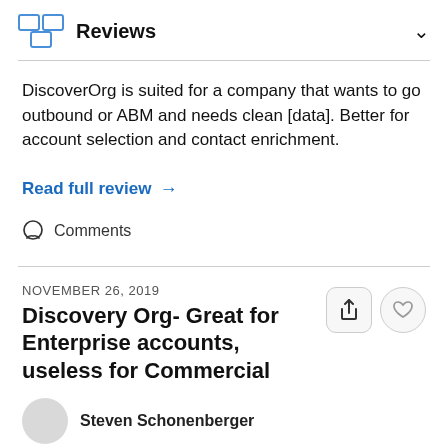Reviews
DiscoverOrg is suited for a company that wants to go outbound or ABM and needs clean [data]. Better for account selection and contact enrichment.
Read full review →
Comments
NOVEMBER 26, 2019
Discovery Org- Great for Enterprise accounts, useless for Commercial
Steven Schonenberger